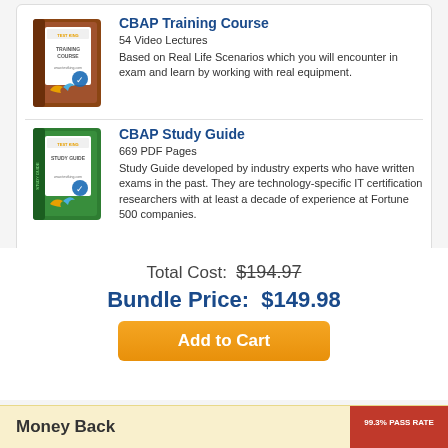[Figure (illustration): Brown box book cover for CBAP Training Course with Test King logo, checkmark badge, and refresh arrow icon]
CBAP Training Course
54 Video Lectures
Based on Real Life Scenarios which you will encounter in exam and learn by working with real equipment.
[Figure (illustration): Green box book cover for CBAP Study Guide with Test King logo, checkmark badge, and refresh arrow icon]
CBAP Study Guide
669 PDF Pages
Study Guide developed by industry experts who have written exams in the past. They are technology-specific IT certification researchers with at least a decade of experience at Fortune 500 companies.
Total Cost: $194.97
Bundle Price: $149.98
Add to Cart
Money Back